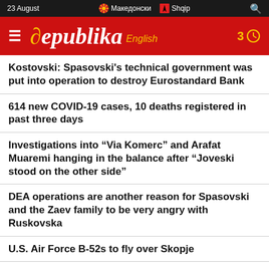23 August | Македонски | Shqip
[Figure (logo): Republika English news website logo on red background with hamburger menu and clock icon]
Kostovski: Spasovski's technical government was put into operation to destroy Eurostandard Bank
614 new COVID-19 cases, 10 deaths registered in past three days
Investigations into “Via Komerc” and Arafat Muaremi hanging in the balance after “Joveski stood on the other side”
DEA operations are another reason for Spasovski and the Zaev family to be very angry with Ruskovska
U.S. Air Force B-52s to fly over Skopje
“He employed his whole family in the Interior Ministry: Anti-Corruption Commission to investigate the employment of Ramcilovic’s wife and son”